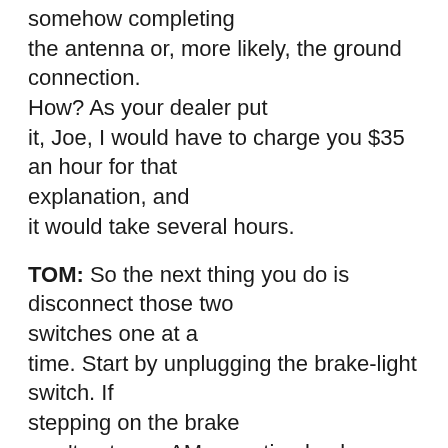somehow completing the antenna or, more likely, the ground connection. How? As your dealer put it, Joe, I would have to charge you $35 an hour for that explanation, and it would take several hours.
TOM: So the next thing you do is disconnect those two switches one at a time. Start by unplugging the brake-light switch. If stepping on the brake won't get your AM reception back now, you know the brake light wire is involved. Then you just have to learn to ride the brakes while listening to the ball game.
RAY: Actually, if you take it that far, and narrow it down to the brake